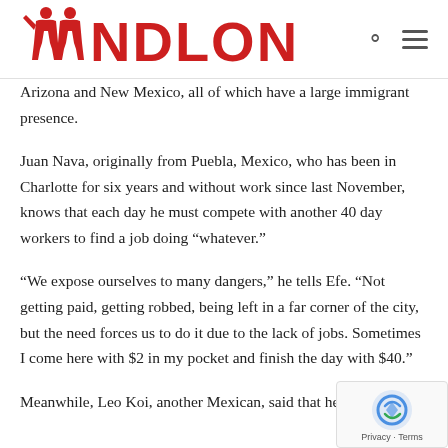[Figure (logo): NDLON logo with red silhouettes of two people and bold red text]
Arizona and New Mexico, all of which have a large immigrant presence.
Juan Nava, originally from Puebla, Mexico, who has been in Charlotte for six years and without work since last November, knows that each day he must compete with another 40 day workers to find a job doing “whatever.”
“We expose ourselves to many dangers,” he tells Efe. “Not getting paid, getting robbed, being left in a far corner of the city, but the need forces us to do it due to the lack of jobs. Sometimes I come here with $2 in my pocket and finish the day with $40.”
Meanwhile, Leo Koi, another Mexican, said that he became